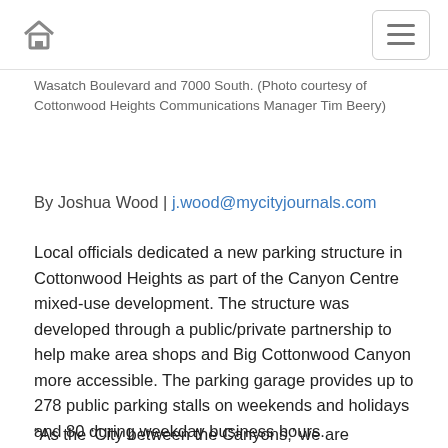[Home icon] [Menu icon]
Wasatch Boulevard and 7000 South. (Photo courtesy of Cottonwood Heights Communications Manager Tim Beery)
By Joshua Wood | j.wood@mycityjournals.com
Local officials dedicated a new parking structure in Cottonwood Heights as part of the Canyon Centre mixed-use development. The structure was developed through a public/private partnership to help make area shops and Big Cottonwood Canyon more accessible. The parking garage provides up to 278 public parking stalls on weekends and holidays and 80 during weekday business hours.
“As the ‘City between the Canyons,’ we are constantly